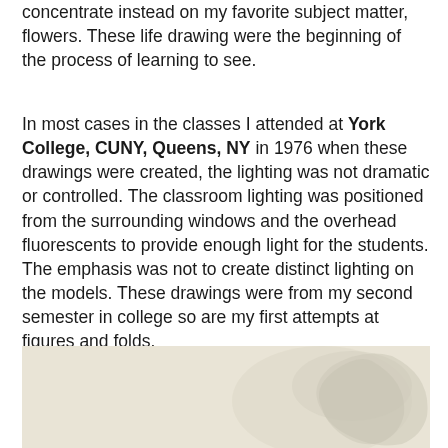concentrate instead on my favorite subject matter, flowers. These life drawing were the beginning of the process of learning to see.
In most cases in the classes I attended at York College, CUNY, Queens, NY in 1976 when these drawings were created, the lighting was not dramatic or controlled. The classroom lighting was positioned from the surrounding windows and the overhead fluorescents to provide enough light for the students. The emphasis was not to create distinct lighting on the models. These drawings were from my second semester in college so are my first attempts at figures and folds.
[Figure (photo): Partial view of a figure drawing in light tones on a cream/off-white background, showing a curved form — appears to be a life drawing study.]